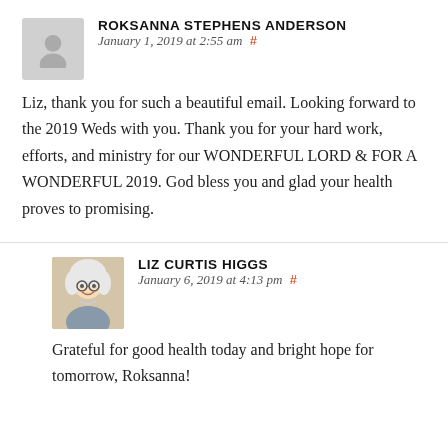ROKSANNA STEPHENS ANDERSON  January 1, 2019 at 2:55 am #
Liz, thank you for such a beautiful email. Looking forward to the 2019 Weds with you. Thank you for your hard work, efforts, and ministry for our WONDERFUL LORD & FOR A WONDERFUL 2019. God bless you and glad your health proves to promising.
LIZ CURTIS HIGGS  January 6, 2019 at 4:13 pm #
Grateful for good health today and bright hope for tomorrow, Roksanna!